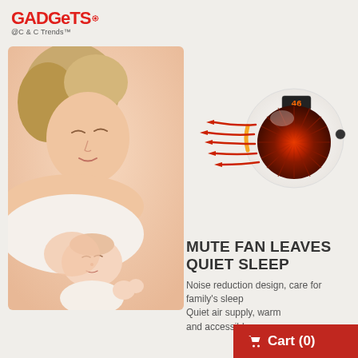[Figure (logo): GADGETS logo with gear icon and subtitle '@C & C Trends™']
[Figure (photo): Product photo of a round white portable heater/fan device with red heating element visible and red heat arrows, digital display on top]
[Figure (photo): Photo of a mother sleeping with her baby, warm tones, illustrating quiet sleep]
MUTE FAN LEAVES QUIET SLEEP
Noise reduction design, care for family's sleep
Quiet air supply, warm and accessible
Cart (0)